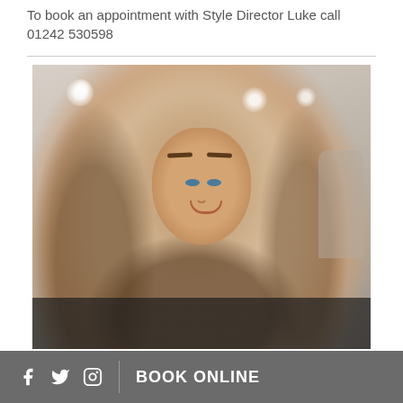To book an appointment with Style Director Luke call 01242 530598
[Figure (photo): Portrait photo of a young woman with long brown wavy hair and blue eyes, smiling, in a salon environment]
f [twitter] [instagram] | BOOK ONLINE